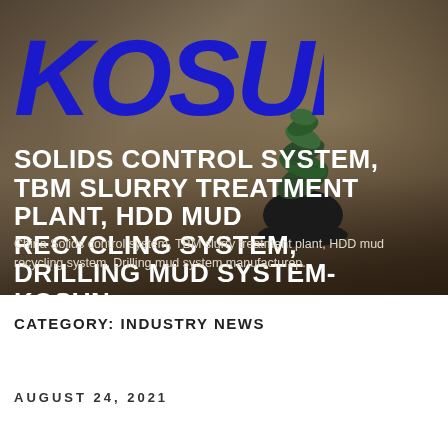[Figure (logo): KOSUN company logo in dark blue bold stylized text on photographic background with plant and wooden table]
SOLIDS CONTROL SYSTEM, TBM SLURRY TREATMENT PLANT, HDD MUD RECYCLING SYSTEM, DRILLING MUD SYSTEM-KOSUN
China Solids control system, TBM slurry treatment plant, HDD mud recycling system, Drilling mud system manufacturер.
CATEGORY: INDUSTRY NEWS
AUGUST 24, 2021